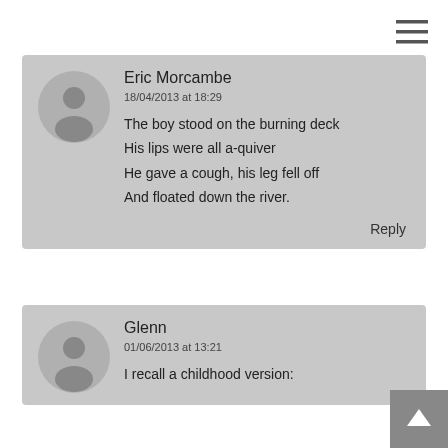[Figure (other): Hamburger menu icon (three horizontal lines) in top right corner]
Eric Morcambe
18/04/2013 at 18:29
The boy stood on the burning deck
His lips were all a-quiver
He gave a cough, his leg fell off
And floated down the river.
Reply
Glenn
01/06/2013 at 13:21
I recall a childhood version: